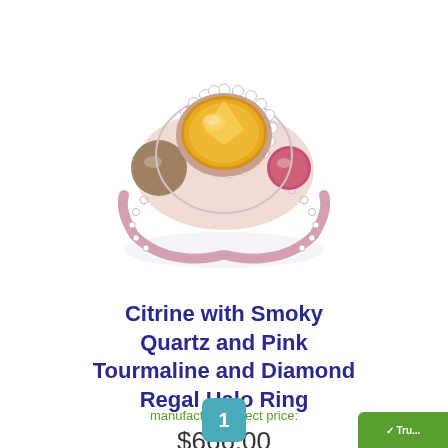[Figure (photo): A three-stone ring with a large oval citrine center stone surrounded by a diamond halo, flanked by a smoky quartz on the left and a pink tourmaline on the right, set in rose gold with additional diamonds on the band. The ring is shown from above at a slight angle against a white background with a subtle reflection below.]
Citrine with Smoky Quartz and Pink Tourmaline and Diamond Regal Halo Ring
manufacturer-direct price:
$666.00